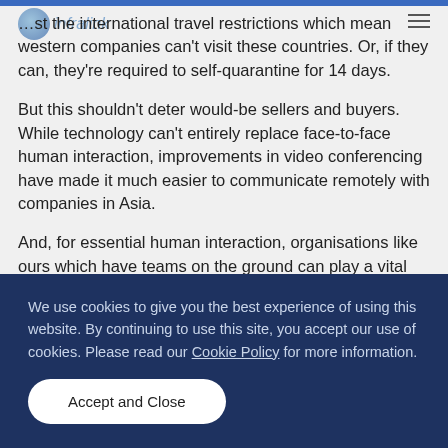…st the international travel restrictions which mean western companies can't visit these countries. Or, if they can, they're required to self-quarantine for 14 days.
But this shouldn't deter would-be sellers and buyers. While technology can't entirely replace face-to-face human interaction, improvements in video conferencing have made it much easier to communicate remotely with companies in Asia.
And, for essential human interaction, organisations like ours which have teams on the ground can play a vital role for western firms –
We use cookies to give you the best experience of using this website. By continuing to use this site, you accept our use of cookies. Please read our Cookie Policy for more information.
Accept and Close